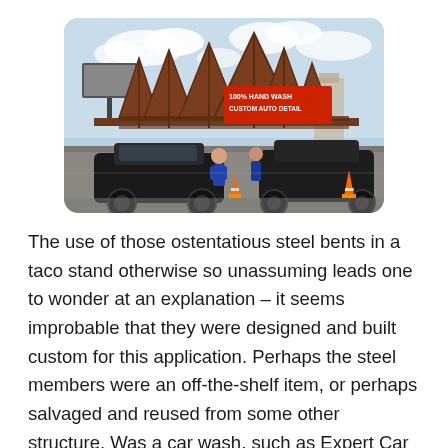[Figure (photo): Outdoor car wash or detailing business with distinctive large triangular/A-frame steel bents forming a canopy structure over the service area. A sign reads '100% HAND WASH CUSTOM AUTO DETAIL'. Several dark-colored cars are parked under the structure with workers in blue uniforms. Orange traffic cones are visible. A billboard is visible in the background.]
The use of those ostentatious steel bents in a taco stand otherwise so unassuming leads one to wonder at an explanation – it seems improbable that they were designed and built custom for this application. Perhaps the steel members were an off-the-shelf item, or perhaps salvaged and reused from some other structure. Was a car wash, such as Expert Car Wash at 900 South